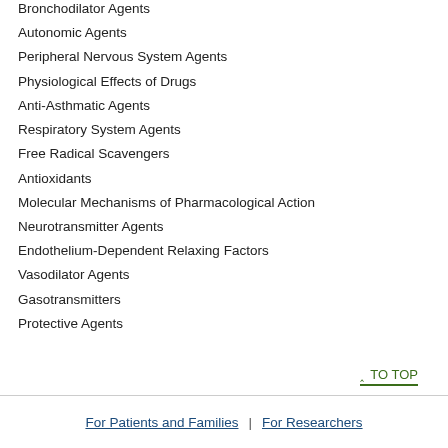Bronchodilator Agents
Autonomic Agents
Peripheral Nervous System Agents
Physiological Effects of Drugs
Anti-Asthmatic Agents
Respiratory System Agents
Free Radical Scavengers
Antioxidants
Molecular Mechanisms of Pharmacological Action
Neurotransmitter Agents
Endothelium-Dependent Relaxing Factors
Vasodilator Agents
Gasotransmitters
Protective Agents
^ TO TOP
For Patients and Families  |  For Researchers